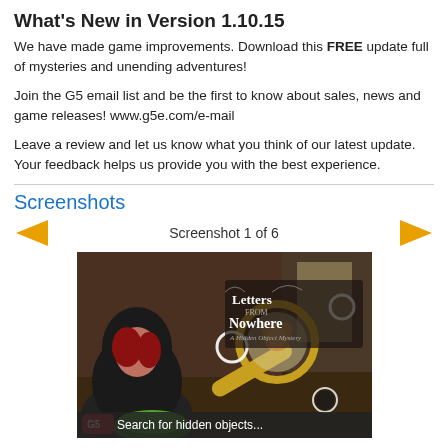What's New in Version 1.10.15
We have made game improvements. Download this FREE update full of mysteries and unending adventures!
Join the G5 email list and be the first to know about sales, news and game releases! www.g5e.com/e-mail
Leave a review and let us know what you think of our latest update. Your feedback helps us provide you with the best experience.
Screenshots
Screenshot 1 of 6
[Figure (screenshot): Game screenshot showing 'Letters from Nowhere - A Hidden Object Mystery' with a mysterious hooded woman, magnifying glass, teddy bear, and text 'Search for hidden objects...' at the bottom with G5 Games logo]